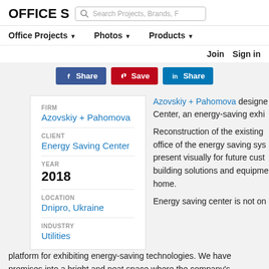OFFICE S [search bar: Search Projects, Brands, F]
Office Projects ▼   Photos ▼   Products ▼
Join   Sign in
[Figure (screenshot): Social share buttons: Facebook Share (blue), Pinterest Save (red), LinkedIn Share (dark blue)]
| FIRM | Azovskiy + Pahomova |
| CLIENT | Energy Saving Center |
| YEAR | 2018 |
| LOCATION | Dnipro, Ukraine |
| INDUSTRY | Utilities |
Azovskiy + Pahomova designed Center, an energy-saving exhi
Reconstruction of the existing office of the energy saving sys present visually for future cust building solutions and equipme home.
Energy saving center is not on platform for exhibiting energy-saving technologies. We have premises into a bright and neat space where the company's to demonstrate to future customers the technologies, actual